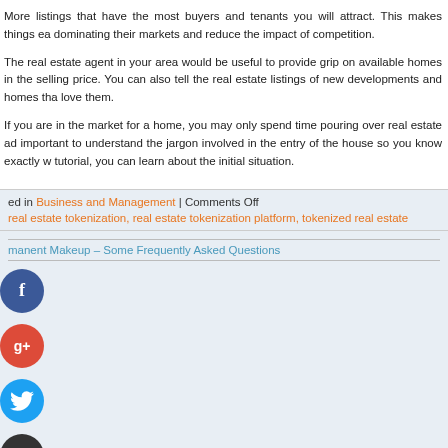More listings that have the most buyers and tenants you will attract. This makes things ea dominating their markets and reduce the impact of competition.
The real estate agent in your area would be useful to provide grip on available homes in the selling price. You can also tell the real estate listings of new developments and homes that love them.
If you are in the market for a home, you may only spend time pouring over real estate ad important to understand the jargon involved in the entry of the house so you know exactly w tutorial, you can learn about the initial situation.
ed in Business and Management | Comments Off
real estate tokenization, real estate tokenization platform, tokenized real estate
manent Makeup – Some Frequently Asked Questions
COMMENTS ARE CLOSED